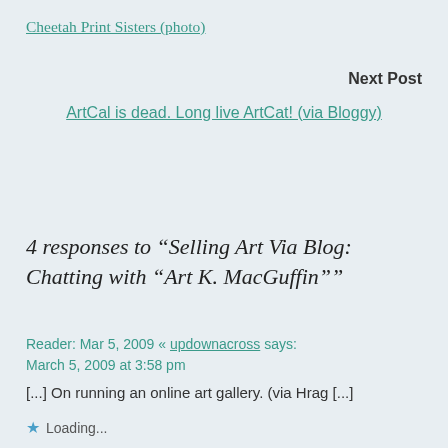Cheetah Print Sisters (photo)
Next Post
ArtCal is dead. Long live ArtCat! (via Bloggy)
4 responses to “Selling Art Via Blog: Chatting with “Art K. MacGuffin””
Reader: Mar 5, 2009 « updownacross says:
March 5, 2009 at 3:58 pm
[...] On running an online art gallery. (via Hrag [...]
Loading...